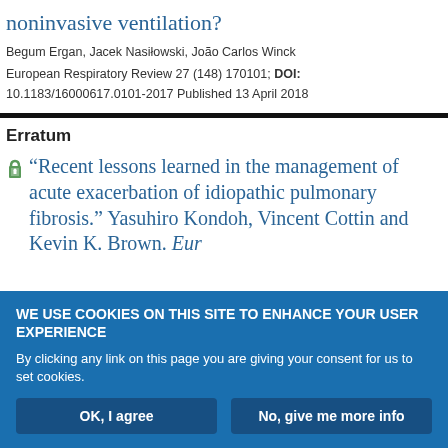noninvasive ventilation?
Begum Ergan, Jacek Nasiłowski, João Carlos Winck
European Respiratory Review 27 (148) 170101; DOI: 10.1183/16000617.0101-2017 Published 13 April 2018
Erratum
“Recent lessons learned in the management of acute exacerbation of idiopathic pulmonary fibrosis.” Yasuhiro Kondoh, Vincent Cottin and Kevin K. Brown. Eur
WE USE COOKIES ON THIS SITE TO ENHANCE YOUR USER EXPERIENCE
By clicking any link on this page you are giving your consent for us to set cookies.
OK, I agree
No, give me more info